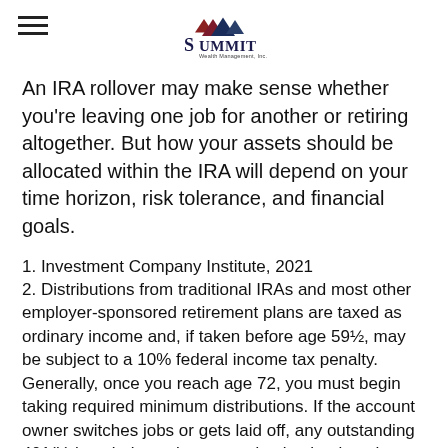Summit Wealth Management, Inc.
An IRA rollover may make sense whether you're leaving one job for another or retiring altogether. But how your assets should be allocated within the IRA will depend on your time horizon, risk tolerance, and financial goals.
1. Investment Company Institute, 2021
2. Distributions from traditional IRAs and most other employer-sponsored retirement plans are taxed as ordinary income and, if taken before age 59½, may be subject to a 10% federal income tax penalty. Generally, once you reach age 72, you must begin taking required minimum distributions. If the account owner switches jobs or gets laid off, any outstanding 401(k) loan balance becomes due by the time the person files his or her federal tax return. Prior to the 2017 Tax Cuts and Jobs Act,